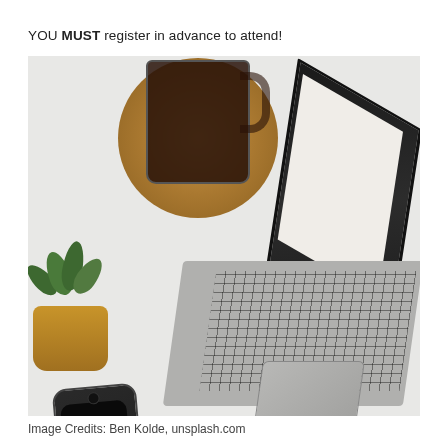YOU MUST register in advance to attend!
[Figure (photo): Overhead flat-lay photo of a white desk with an open MacBook laptop, a black iPhone, a small succulent plant in a gold pot, and a glass mug of tea on a cork coaster]
Image Credits: Ben Kolde, unsplash.com